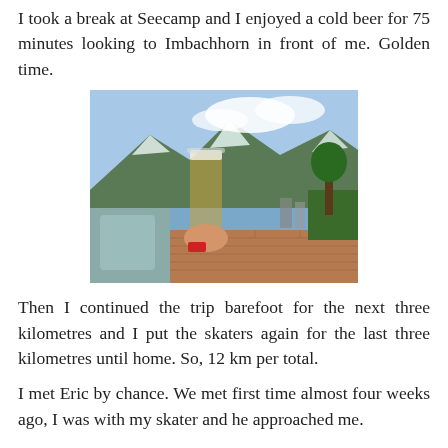I took a break at Seecamp and I enjoyed a cold beer for 75 minutes looking to Imbachhorn in front of me. Golden time.
[Figure (photo): A hand holding a tall glass of beer on an outdoor terrace by a lake, with alpine mountains and clouds visible in the background. The person is wearing a red watch. Brick paving and outdoor furniture are visible.]
Then I continued the trip barefoot for the next three kilometres and I put the skaters again for the last three kilometres until home. So, 12 km per total.
I met Eric by chance. We met first time almost four weeks ago, I was with my skater and he approached me.